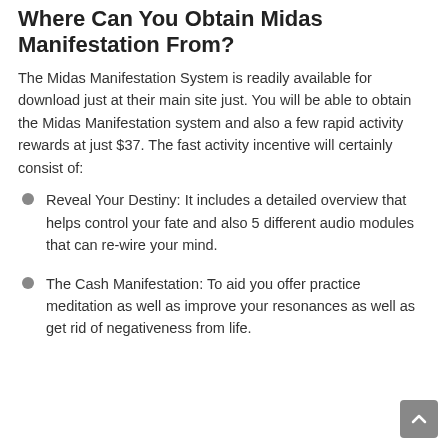Where Can You Obtain Midas Manifestation From?
The Midas Manifestation System is readily available for download just at their main site just. You will be able to obtain the Midas Manifestation system and also a few rapid activity rewards at just $37. The fast activity incentive will certainly consist of:
Reveal Your Destiny: It includes a detailed overview that helps control your fate and also 5 different audio modules that can re-wire your mind.
The Cash Manifestation: To aid you offer practice meditation as well as improve your resonances as well as get rid of negativeness from life.